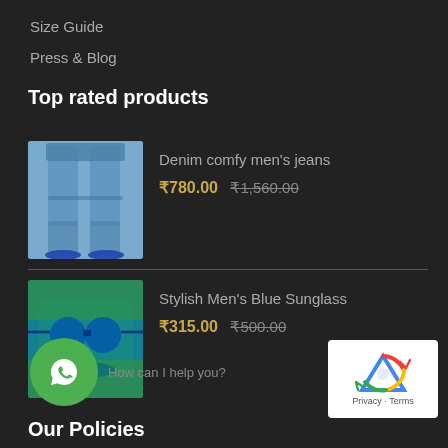Size Guide
Press & Blog
Top rated products
[Figure (photo): Blue denim men's jeans product thumbnail]
Denim comfy men's jeans ₹780.00 ₹1,560.00
[Figure (photo): Blue sunglasses product thumbnail]
Stylish Men's Blue Sunglass ₹315.00 ₹500.00
Our Policies
Terms and Condition
Privacy Policy
Refund policy
How can I help you?